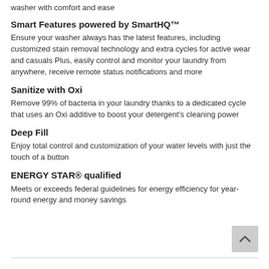washer with comfort and ease
Smart Features powered by SmartHQ™
Ensure your washer always has the latest features, including customized stain removal technology and extra cycles for active wear and casuals Plus, easily control and monitor your laundry from anywhere, receive remote status notifications and more
Sanitize with Oxi
Remove 99% of bacteria in your laundry thanks to a dedicated cycle that uses an Oxi additive to boost your detergent's cleaning power
Deep Fill
Enjoy total control and customization of your water levels with just the touch of a button
ENERGY STAR® qualified
Meets or exceeds federal guidelines for energy efficiency for year-round energy and money savings